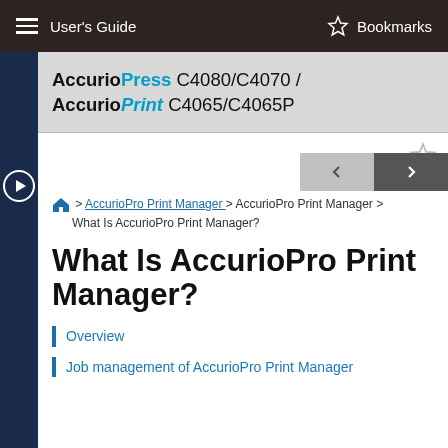User's Guide    Bookmarks
AccurioPress C4080/C4070 / AccurioPrint C4065/C4065P
Home > AccurioPro Print Manager > AccurioPro Print Manager > What Is AccurioPro Print Manager?
What Is AccurioPro Print Manager?
Overview
Job management of AccurioPro Print Manager